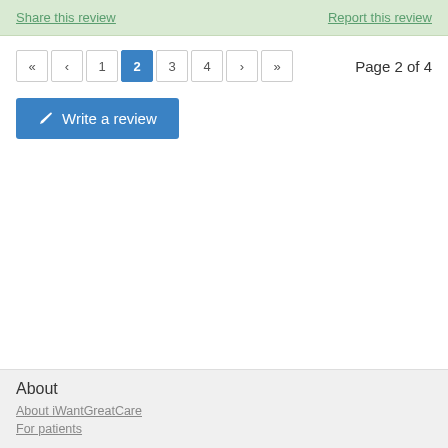Share this review | Report this review
Page 2 of 4
« ‹ 1 2 3 4 › »
Write a review
About
About iWantGreatCare
For patients